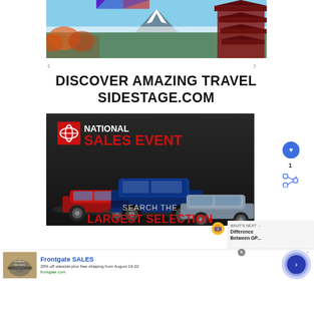[Figure (photo): Japanese pagoda with Mount Fuji in background, autumn foliage, scenic travel image]
DISCOVER AMAZING TRAVEL
SIDESTAGE.COM
[Figure (photo): Toyota National Sales Event advertisement showing three cars - red Camry, blue RAV4, silver Corolla - with text 'SEARCH THE LARGEST SELECTION']
[Figure (photo): What's Next panel: GPS puzzle icon with text 'Difference Between GP...']
[Figure (photo): Frontgate SALES advertisement: outdoor furniture photo, '20% off sitewide plus free shipping from August 19-22', frontgate.com]